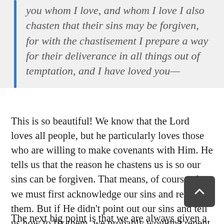you whom I love, and whom I love I also chasten that their sins may be forgiven, for with the chastisement I prepare a way for their deliverance in all things out of temptation, and I have loved you—
This is so beautiful! We know that the Lord loves all people, but he particularly loves those who are willing to make covenants with Him. He tells us that the reason he chastens us is so our sins can be forgiven. That means, of course, that we must first acknowledge our sins and repent of them. But if He didn't point out our sins and tell us how to fix them, we probably wouldn't repent.
The next big point is that we are always given a